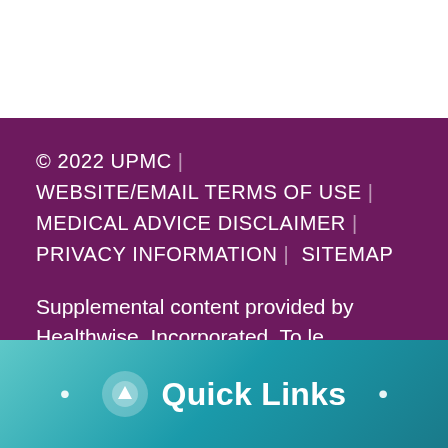© 2022 UPMC | WEBSITE/EMAIL TERMS OF USE | MEDICAL ADVICE DISCLAIMER | PRIVACY INFORMATION | SITEMAP
Supplemental content provided by Healthwise, Incorporated. To le...
[Figure (other): Teal gradient bar with Quick Links button featuring an upward arrow icon and two bullet points on either side]